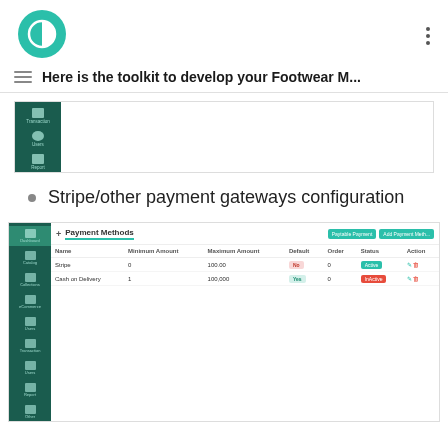Here is the toolkit to develop your Footwear M...
[Figure (screenshot): App screenshot showing a dark green sidebar with Transaction, Users, and Report icons]
Stripe/other payment gateways configuration
[Figure (screenshot): Payment Methods configuration screen showing a table with Name, Minimum Amount, Maximum Amount, Default, Order, Status, Action columns. Rows: Stripe (0, 100.00, No, 0, Active) and Cash on Delivery (1, 100,000, Yes, 0, InActive)]